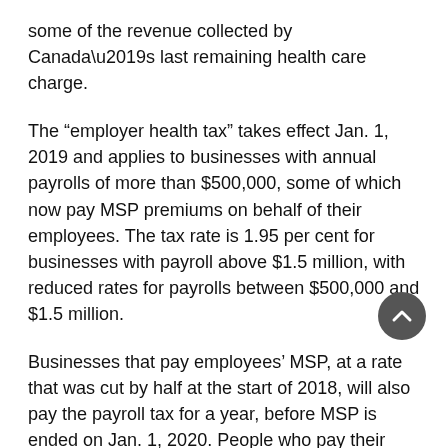some of the revenue collected by Canada’s last remaining health care charge.
The “employer health tax” takes effect Jan. 1, 2019 and applies to businesses with annual payrolls of more than $500,000, some of which now pay MSP premiums on behalf of their employees. The tax rate is 1.95 per cent for businesses with payroll above $1.5 million, with reduced rates for payrolls between $500,000 and $1.5 million.
Businesses that pay employees’ MSP, at a rate that was cut by half at the start of 2018, will also pay the payroll tax for a year, before MSP is ended on Jan. 1, 2020. People who pay their own MSP will save an average $900 per year for individuals and $1,800 for families when MSP is eliminated.
Finance Minister Carole James said the decision to stop